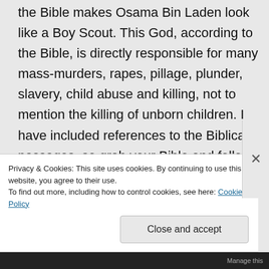the Bible makes Osama Bin Laden look like a Boy Scout. This God, according to the Bible, is directly responsible for many mass-murders, rapes, pillage, plunder, slavery, child abuse and killing, not to mention the killing of unborn children. I have included references to the Biblical passages, so grab your Bible and follow along. You can also follow along with on-line Bibles
Privacy & Cookies: This site uses cookies. By continuing to use this website, you agree to their use. To find out more, including how to control cookies, see here: Cookie Policy
Close and accept